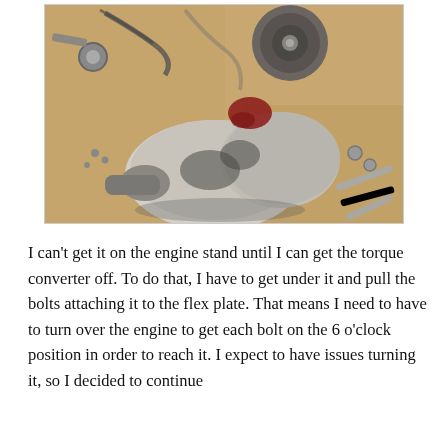[Figure (photo): Overhead view of a disassembled transmission/torque converter and various hand tools (wrenches, sockets) laid out on a workbench floor. The transmission housing is dirty and greasy, with a torque converter visible at the top and wrenches scattered around.]
I can't get it on the engine stand until I can get the torque converter off. To do that, I have to get under it and pull the bolts attaching it to the flex plate. That means I need to have to turn over the engine to get each bolt on the 6 o'clock position in order to reach it. I expect to have issues turning it, so I decided to continue